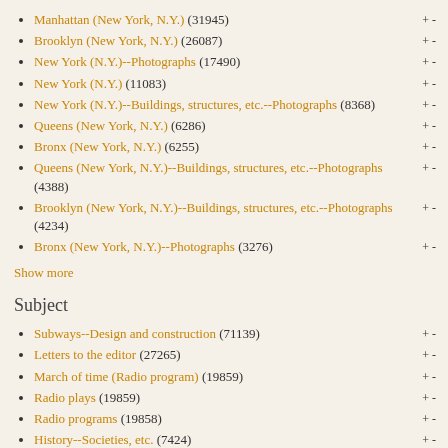Manhattan (New York, N.Y.) (31945)
Brooklyn (New York, N.Y.) (26087)
New York (N.Y.)--Photographs (17490)
New York (N.Y.) (11083)
New York (N.Y.)--Buildings, structures, etc.--Photographs (8368)
Queens (New York, N.Y.) (6286)
Bronx (New York, N.Y.) (6255)
Queens (New York, N.Y.)--Buildings, structures, etc.--Photographs (4388)
Brooklyn (New York, N.Y.)--Buildings, structures, etc.--Photographs (4234)
Bronx (New York, N.Y.)--Photographs (3276)
Show more
Subject
Subways--Design and construction (71139)
Letters to the editor (27265)
March of time (Radio program) (19859)
Radio plays (19859)
Radio programs (19858)
History--Societies, etc. (7424)
March of time (Motion picture) (3656)
Newsreels (3656)
Railroads, Elevated--New York (State)--New York--Photographs (3271)
Women--Photographs (1579)